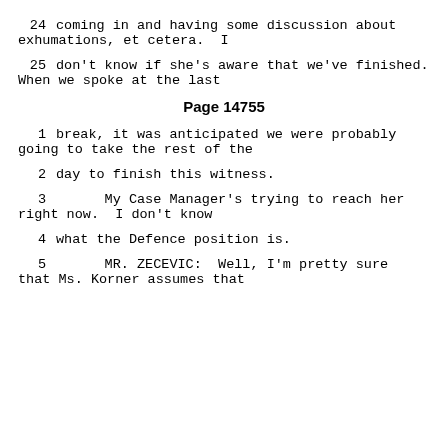24    coming in and having some discussion about exhumations, et cetera.  I
25    don't know if she's aware that we've finished. When we spoke at the last
Page 14755
1    break, it was anticipated we were probably going to take the rest of the
2    day to finish this witness.
3         My Case Manager's trying to reach her right now.  I don't know
4    what the Defence position is.
5         MR. ZECEVIC:  Well, I'm pretty sure that Ms. Korner assumes that